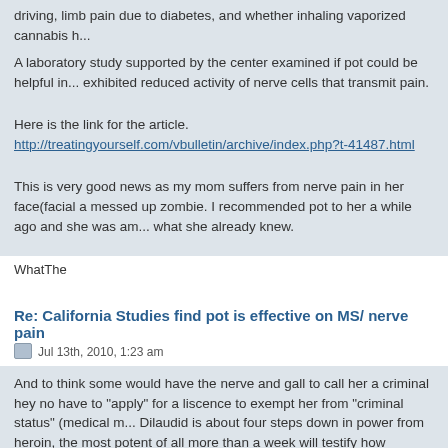A laboratory study supported by the center examined if pot could be helpful in... exhibited reduced activity of nerve cells that transmit pain.
Here is the link for the article.
http://treatingyourself.com/vbulletin/archive/index.php?t-41487.html
This is very good news as my mom suffers from nerve pain in her face(facial... a messed up zombie. I recommended pot to her a while ago and she was am... what she already knew.
WhatThe
Re: California Studies find pot is effective on MS/ nerve pain
Jul 13th, 2010, 1:23 am
And to think some would have the nerve and gall to call her a criminal hey no... have to "apply" for a liscence to exempt her from "criminal status" (medical m... Dilaudid is about four steps down in power from heroin, the most potent of all... more than a week will testify how powerful those are, the withdrawal makes y... They're have been times over the years sick as a dog, flu, sinus infection, pnu... hour later food is palatable, feel less naseaueous and able to get some rest. ...